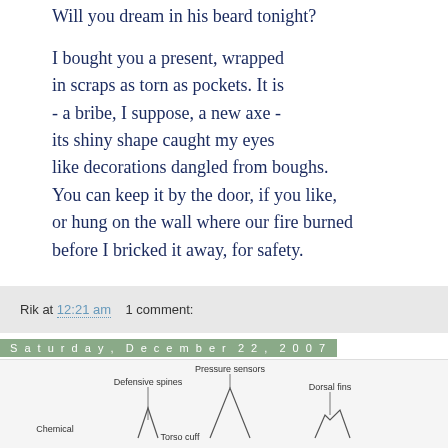Will you dream in his beard tonight?
I bought you a present, wrapped
in scraps as torn as pockets. It is
- a bribe, I suppose, a new axe -
its shiny shape caught my eyes
like decorations dangled from boughs.
You can keep it by the door, if you like,
or hung on the wall where our fire burned
before I bricked it away, for safety.
Rik at 12:21 am    1 comment:
Saturday, December 22, 2007
Isn't he cute?
Well, I think he's cute:
[Figure (illustration): Partial diagram of a creature with labels: Pressure sensors, Defensive spines, Dorsal fins, Chemical, Torso cuff]